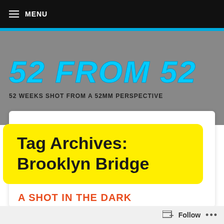≡ MENU
52 FROM 52
52 WEEKS SHOT FROM A 52MM PERSPECTIVE
Tag Archives: Brooklyn Bridge
A SHOT IN THE DARK
Follow ...